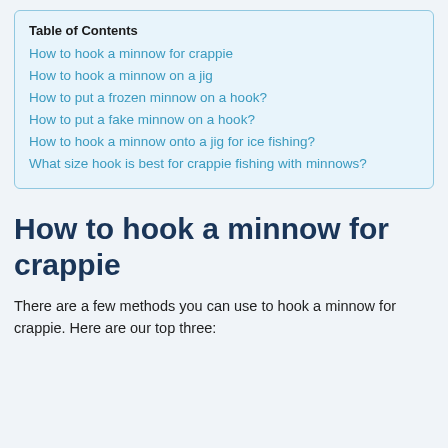Table of Contents
How to hook a minnow for crappie
How to hook a minnow on a jig
How to put a frozen minnow on a hook?
How to put a fake minnow on a hook?
How to hook a minnow onto a jig for ice fishing?
What size hook is best for crappie fishing with minnows?
How to hook a minnow for crappie
There are a few methods you can use to hook a minnow for crappie. Here are our top three: